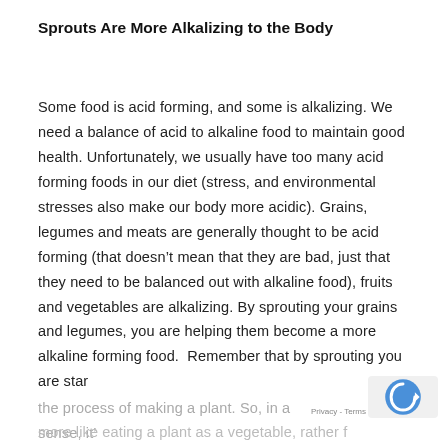Sprouts Are More Alkalizing to the Body
Some food is acid forming, and some is alkalizing. We need a balance of acid to alkaline food to maintain good health. Unfortunately, we usually have too many acid forming foods in our diet (stress, and environmental stresses also make our body more acidic). Grains, legumes and meats are generally thought to be acid forming (that doesn’t mean that they are bad, just that they need to be balanced out with alkaline food), fruits and vegetables are alkalizing. By sprouting your grains and legumes, you are helping them become a more alkaline forming food. Remember that by sprouting you are star the process of making a plant. So, in a sense, it’ more like eating a plant as a vegetable, rather f